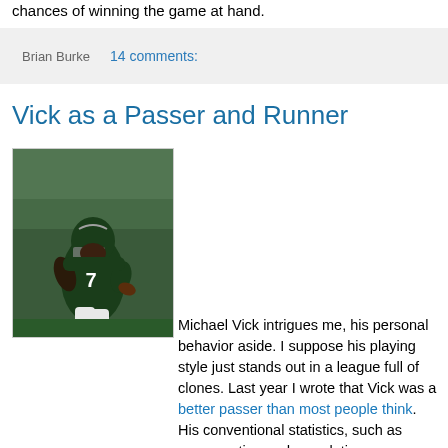chances of winning the game at hand.
Brian Burke   14 comments:
Vick as a Passer and Runner
[Figure (photo): Michael Vick, wearing Philadelphia Eagles jersey number 7 in dark green uniform, running with football]
Michael Vick intrigues me, his personal behavior aside. I suppose his playing style just stands out in a league full of clones. Last year I wrote that Vick was a better passer than most people think. His conventional statistics, such as passer rating and completion percentage,